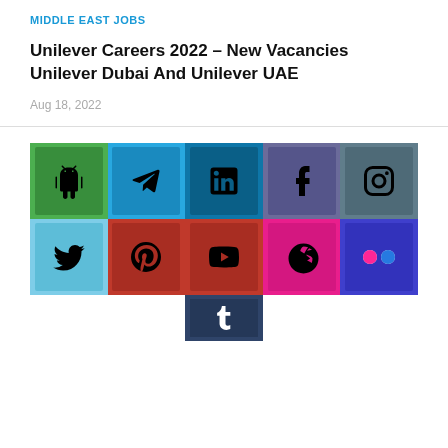MIDDLE EAST JOBS
Unilever Careers 2022 – New Vacancies Unilever Dubai And Unilever UAE
Aug 18, 2022
[Figure (infographic): Social media icon grid with 10 icons: Android (green), Telegram (blue), LinkedIn (dark blue), Facebook (purple-blue), Instagram (grey-blue), Twitter (light blue), Pinterest (red), YouTube (red), Dribbble (pink), Flickr (blue-purple), and a partial Tumblr icon at the bottom center.]